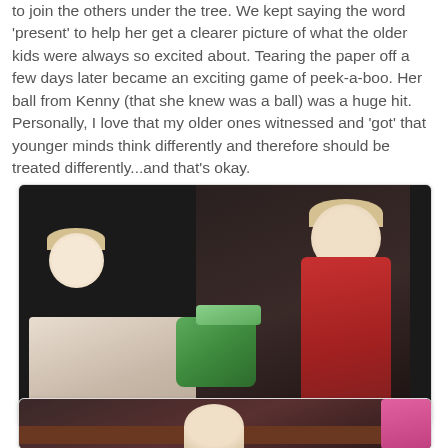to join the others under the tree. We kept saying the word 'present' to help her get a clearer picture of what the older kids were always so excited about. Tearing the paper off a few days later became an exciting game of peek-a-boo. Her ball from Kenny (that she knew was a ball) was a huge hit. Personally, I love that my older ones witnessed and 'got' that younger minds think differently and therefore should be treated differently...and that's okay.
[Figure (photo): A boy in a plaid shirt on the left hands a green wrapped present to a toddler in a red shirt on the right, with a dark background.]
[Figure (photo): Children gathered together, partially visible, with a wooden shelf or mantle in the background; a child in a pink outfit is visible on the right edge.]